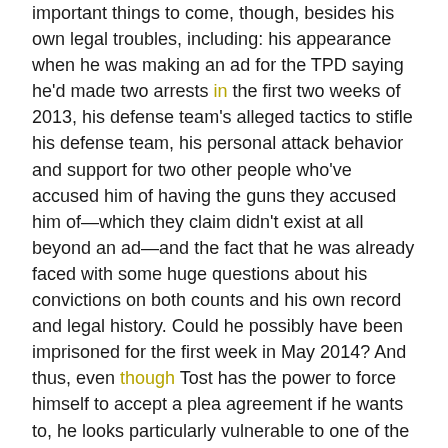important things to come, though, besides his own legal troubles, including: his appearance when he was making an ad for the TPD saying he'd made two arrests in the first two weeks of 2013, his defense team's alleged tactics to stifle his defense team, his personal attack behavior and support for two other people who've accused him of having the guns they accused him of—which they claim didn't exist at all beyond an ad—and the fact that he was already faced with some huge questions about his convictions on both counts and his own record and legal history. Could he possibly have been imprisoned for the first week in May 2014? And thus, even though Tost has the power to force himself to accept a plea agreement if he wants to, he looks particularly vulnerable to one of the harshest prison sentences he'll ever face.
Help me in Praxis Exam
It's hard to imagine other than the possibility that he will, in the end, get that pardon (one day, as if he deserves to!) from the governor. While criminal appeals courts have seen people be...